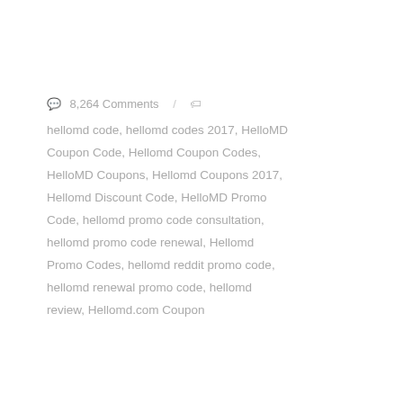🗨 8,264 Comments / 🏷 hellomd code, hellomd codes 2017, HelloMD Coupon Code, Hellomd Coupon Codes, HelloMD Coupons, Hellomd Coupons 2017, Hellomd Discount Code, HelloMD Promo Code, hellomd promo code consultation, hellomd promo code renewal, Hellomd Promo Codes, hellomd reddit promo code, hellomd renewal promo code, hellomd review, Hellomd.com Coupon